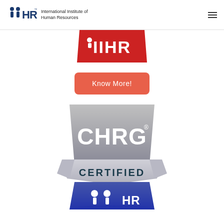International Institute of Human Resources
[Figure (logo): IIHR red banner logo partially visible at top of content area]
[Figure (logo): Know More! red/salmon rounded button]
[Figure (logo): CHRG Certified IIHR badge with metallic grey shield and blue base]